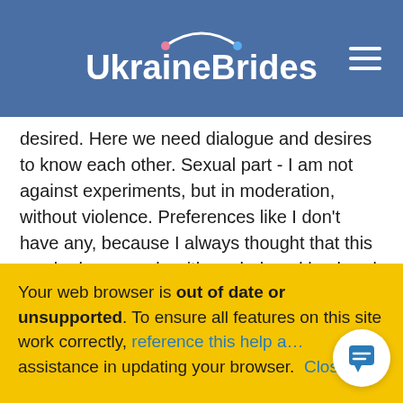Ukraine Brides
desired. Here we need dialogue and desires to know each other. Sexual part - I am not against experiments, but in moderation, without violence. Preferences like I don't have any, because I always thought that this can be known only with my beloved husband. I think that we need to protect each other, especially health. I want to have children and so that they are welcome. But this will primarily depend on the man. I think two will be enough, because I want to be able to spend enough time with my husband. Also, so that he takes an active part in education.I respect other religions, and I am not against to change my. Not
Your web browser is out of date or unsupported. To ensure all features on this site work correctly, reference this help a… assistance in updating your browser. Close